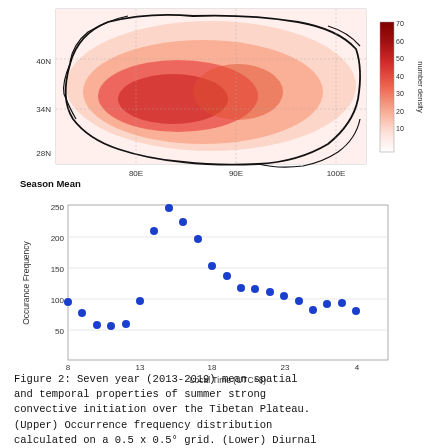[Figure (map): Seven year mean spatial distribution map of summer strong convective initiation over the Tibetan Plateau. Color heatmap showing number density from 0 to 70, with latitude labels 28N, 34N, 40N and longitude labels 80E, 90E, 100E. Red shading indicates high occurrence density over the plateau. Label 'Season Mean' at lower left.]
[Figure (scatter-plot): Diurnal cycle of occurrence frequency]
Figure 2: Seven year (2013-2019) mean spatial and temporal properties of summer strong convective initiation over the Tibetan Plateau. (Upper) Occurrence frequency distribution calculated on a 0.5 x 0.5° grid. (Lower) Diurnal cycle of occurrence frequency.